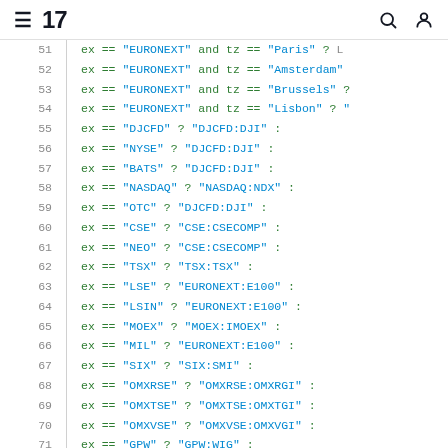TradingView logo with hamburger menu, search, and user icons
[Figure (screenshot): Code editor showing Pine Script code lines 51–72 with exchange condition checks]
51  ex == "EURONEXT" and tz == "Paris" ? L
52  ex == "EURONEXT" and tz == "Amsterdam"
53  ex == "EURONEXT" and tz == "Brussels" ?
54  ex == "EURONEXT" and tz == "Lisbon" ? "
55  ex == "DJCFD" ? "DJCFD:DJI" :
56  ex == "NYSE" ? "DJCFD:DJI" :
57  ex == "BATS" ? "DJCFD:DJI" :
58  ex == "NASDAQ" ? "NASDAQ:NDX" :
59  ex == "OTC" ? "DJCFD:DJI" :
60  ex == "CSE" ? "CSE:CSECOMP" :
61  ex == "NEO" ? "CSE:CSECOMP" :
62  ex == "TSX" ? "TSX:TSX" :
63  ex == "LSE" ? "EURONEXT:E100" :
64  ex == "LSIN" ? "EURONEXT:E100" :
65  ex == "MOEX" ? "MOEX:IMOEX" :
66  ex == "MIL" ? "EURONEXT:E100" :
67  ex == "SIX" ? "SIX:SMI" :
68  ex == "OMXRSE" ? "OMXRSE:OMXRGI" :
69  ex == "OMXTSE" ? "OMXTSE:OMXTGI" :
70  ex == "OMXVSE" ? "OMXVSE:OMXVGI" :
71  ex == "GPW" ? "GPW:WIG" :
72  ex == "BIST" ? "BIST:XU100" :